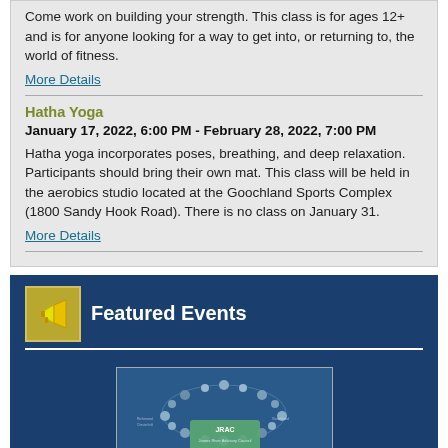Come work on building your strength. This class is for ages 12+ and is for anyone looking for a way to get into, or returning to, the world of fitness.
More Details
Hatha Yoga
January 17, 2022, 6:00 PM - February 28, 2022, 7:00 PM
Hatha yoga incorporates poses, breathing, and deep relaxation. Participants should bring their own mat. This class will be held in the aerobics studio located at the Goochland Sports Complex (1800 Sandy Hook Road). There is no class on January 31.
More Details
Featured Events
[Figure (photo): JRAC 23rd Annual Regional River Cleanup event flyer showing people in a circle aerial view with JRAC logo. Text reads: 23rd Annual Regional River Cleanup, September 10 | 9am - Noon]